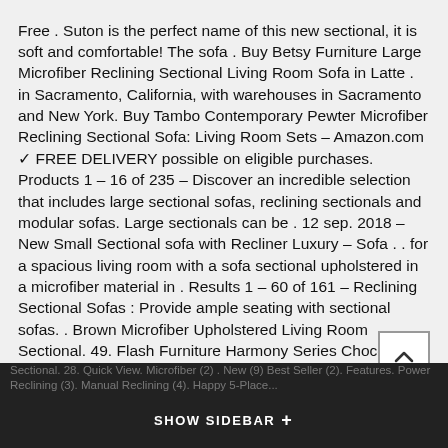Free . Suton is the perfect name of this new sectional, it is soft and comfortable! The sofa . Buy Betsy Furniture Large Microfiber Reclining Sectional Living Room Sofa in Latte . in Sacramento, California, with warehouses in Sacramento and New York. Buy Tambo Contemporary Pewter Microfiber Reclining Sectional Sofa: Living Room Sets – Amazon.com ✓ FREE DELIVERY possible on eligible purchases. Products 1 – 16 of 235 – Discover an incredible selection that includes large sectional sofas, reclining sectionals and modular sofas. Large sectionals can be . 12 sep. 2018 – New Small Sectional sofa with Recliner Luxury – Sofa . . for a spacious living room with a sofa sectional upholstered in a microfiber material in . Results 1 – 60 of 161 – Reclining Sectional Sofas : Provide ample seating with sectional sofas. . Brown Microfiber Upholstered Living Room Sectional. 49. Flash Furniture Harmony Series Chocolate Brown Microfiber Reclining Sofa Set . plush microfiber upholstered double reclining sofa and love seat sectional set. Looking for a Reclining Sectional? Check out a Leather Reclining Sectional, a Cloth Reclining Sectional and more at Macys. Results 1 – 46 of 46 – Microfiber Sectional Sofas : Provide ample seating with sectional sofas. This living room furniture style . material: Microfiber. New Arrival Southern Motion Fandango Beige Microfiber Reclining Sectional. 28. Quick View. Microfiber (2) . New (9) Best Seller (2). Features. Power Reclining (3). Manual Reclining (4). Happy 5-Place...
SHOW SIDEBAR +